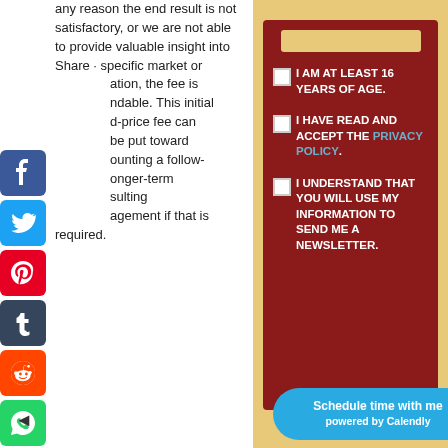any reason the end result is not satisfactory, or we are not able to provide valuable insight into specific market or ation, the fee is ndable. This initial d-price fee can be put toward ounting a follow-onger-term sulting agement if that is required.
[Figure (infographic): Social media share icons: Facebook (blue), Twitter (light blue), Pinterest (red), Tumblr (dark blue), Reddit (orange), WhatsApp (green)]
I AM AT LEAST 16 YEARS OF AGE.
I HAVE READ AND ACCEPT THE PRIVACY POLICY.
I UNDERSTAND THAT YOU WILL USE MY INFORMATION TO SEND ME A NEWSLETTER.
Schedule time with me powered by Calendly